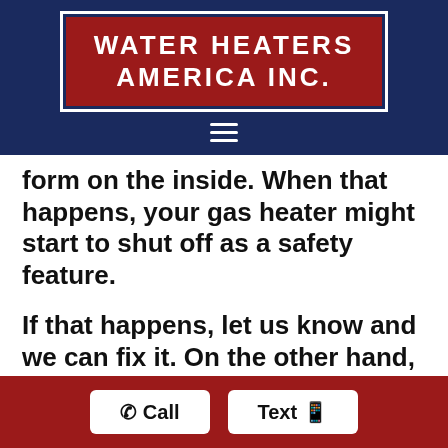[Figure (logo): Water Heaters America Inc. logo — white uppercase text on dark red background with dark navy border]
form on the inside. When that happens, your gas heater might start to shut off as a safety feature.
If that happens, let us know and we can fix it. On the other hand, electric tankless water heaters use a lot of power.
Either way, you're getting more for your money with a tankless water heater.
Call   Text